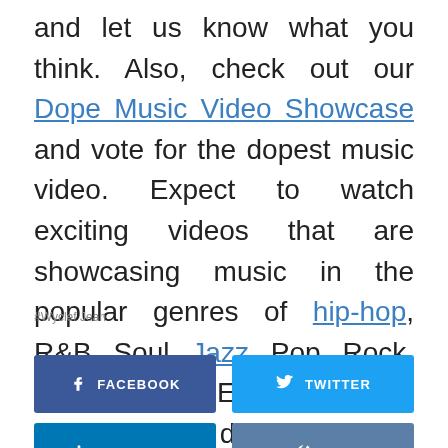and let us know what you think. Also, check out our Dope Music Video Showcase and vote for the dopest music video. Expect to watch exciting videos that are showcasing music in the popular genres of hip-hop, R&B, Soul, Jazz, Pop, Rock, Alternative, Electronic, et cetera. Also, don't forget to subscribe.
#Wyclef Jean
[Figure (other): Social share buttons: Facebook, Twitter, LinkedIn, VK]